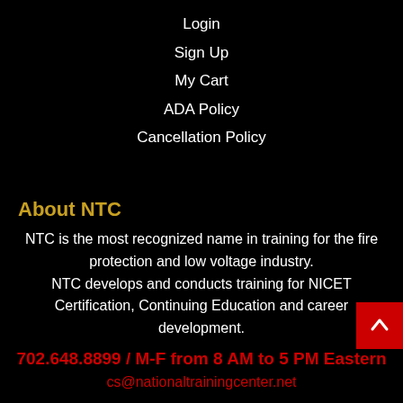Login
Sign Up
My Cart
ADA Policy
Cancellation Policy
About NTC
NTC is the most recognized name in training for the fire protection and low voltage industry.
NTC develops and conducts training for NICET Certification, Continuing Education and career development.
702.648.8899 / M-F from 8 AM to 5 PM Eastern
cs@nationaltrainingcenter.net